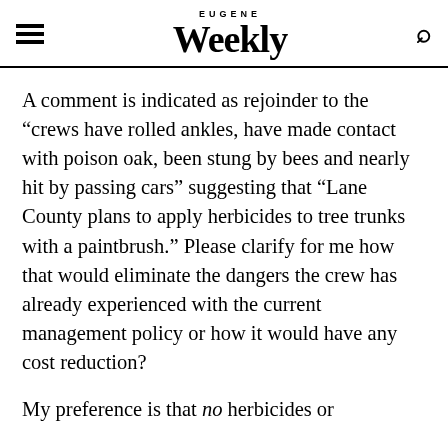EUGENE Weekly
A comment is indicated as rejoinder to the “crews have rolled ankles, have made contact with poison oak, been stung by bees and nearly hit by passing cars” suggesting that “Lane County plans to apply herbicides to tree trunks with a paintbrush.” Please clarify for me how that would eliminate the dangers the crew has already experienced with the current management policy or how it would have any cost reduction?
My preference is that no herbicides or ...